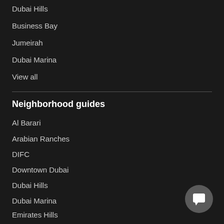Dubai Hills
Business Bay
Jumeirah
Dubai Marina
View all
Neighborhood guides
Al Barari
Arabian Ranches
DIFC
Downtown Dubai
Dubai Hills
Dubai Marina
Emirates Hills
Jumeirah Golf Estates
Palm Jumeirah
View all